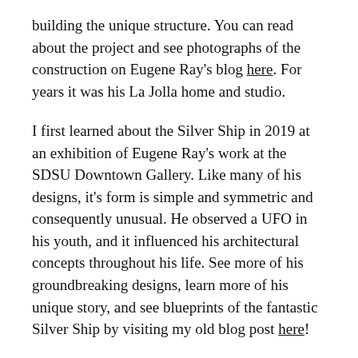building the unique structure. You can read about the project and see photographs of the construction on Eugene Ray's blog here. For years it was his La Jolla home and studio.
I first learned about the Silver Ship in 2019 at an exhibition of Eugene Ray's work at the SDSU Downtown Gallery. Like many of his designs, it's form is simple and symmetric and consequently unusual. He observed a UFO in his youth, and it influenced his architectural concepts throughout his life. See more of his groundbreaking designs, learn more of his unique story, and see blueprints of the fantastic Silver Ship by visiting my old blog post here!
When you compare these to the original photographs, you can see how the Silver Ship appears different today. If I recall correctly, a new...